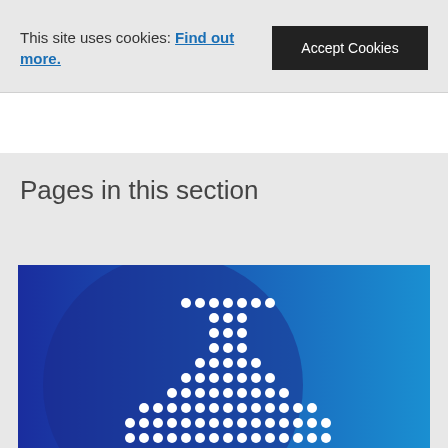This site uses cookies: Find out more.
Accept Cookies
Pages in this section
[Figure (illustration): Blue gradient background with a dotted/halftone flask/beaker icon made of white circles on a dark blue to light blue gradient background with a darker circular overlay]